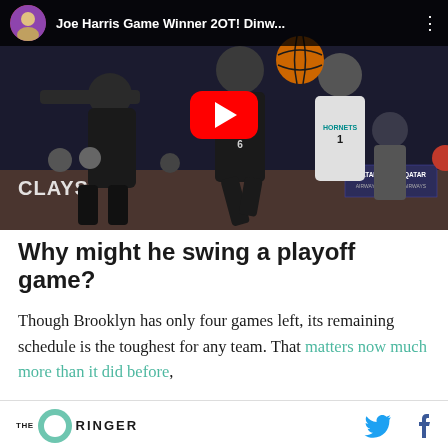[Figure (screenshot): YouTube video thumbnail showing an NBA basketball game between the Brooklyn Nets and Charlotte Hornets. Players are on the court. The video title reads 'Joe Harris Game Winner 2OT! Dinw...' with YouTube play button overlay and channel avatar.]
Why might he swing a playoff game?
Though Brooklyn has only four games left, its remaining schedule is the toughest for any team. That matters now much more than it did before,
[Figure (logo): The Ringer logo with circular green icon and THE RINGER wordmark]
[Figure (other): Twitter bird icon in blue]
[Figure (other): Facebook f icon in blue]